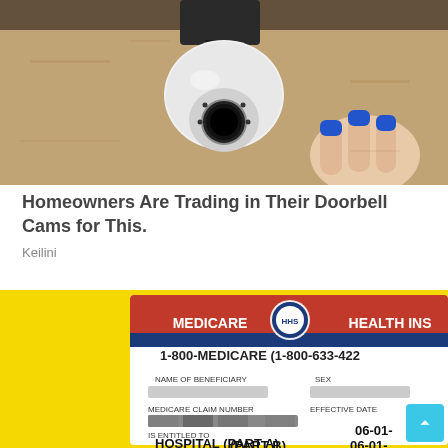[Figure (photo): Photo of a white dome/PTZ security camera mounted on a beige stucco or stone wall, with fingers with blue painted nails visible holding or touching the camera.]
Homeowners Are Trading in Their Doorbell Cams for This.
Keilini
[Figure (photo): Photo of a Medicare Health Insurance card on a yellow background. The card shows: MEDICARE, HEALTH INS (partially cut off), 1-800-MEDICARE (1-800-633-422 partially cut off), NAME OF BENEFICIARY (blurred), MEDICARE CLAIM NUMBER (blurred), SEX (blurred), EFFECTIVE DATE, IS ENTITLED TO, HOSPITAL (PART A) 06-01- (partially cut off), and a partial second line showing (PART B) 06-01-.]